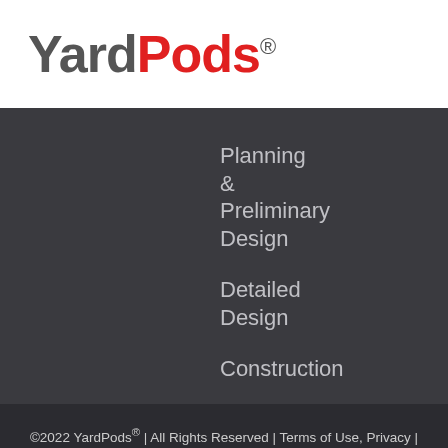YardPods®
Planning & Preliminary Design
Detailed Design
Construction
©2022 YardPods® | All Rights Reserved | Terms of Use, Privacy | Contact | Site by Marv Mauer Digital